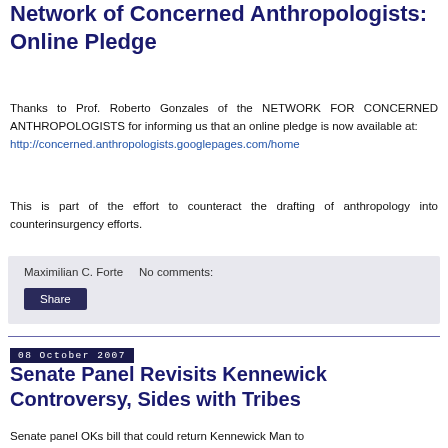Network of Concerned Anthropologists: Online Pledge
Thanks to Prof. Roberto Gonzales of the NETWORK FOR CONCERNED ANTHROPOLOGISTS for informing us that an online pledge is now available at: http://concerned.anthropologists.googlepages.com/home
This is part of the effort to counteract the drafting of anthropology into counterinsurgency efforts.
Maximilian C. Forte    No comments:
Share
08 October 2007
Senate Panel Revisits Kennewick Controversy, Sides with Tribes
Senate panel OKs bill that could return Kennewick Man to